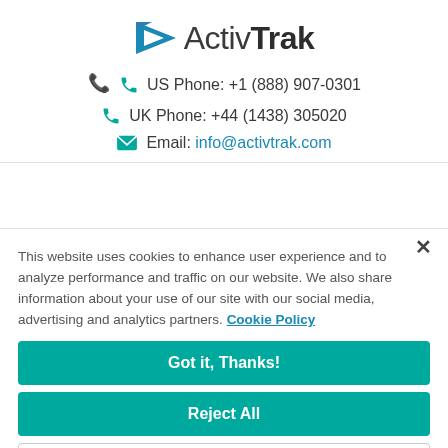[Figure (logo): ActivTrak logo with blue triangle/arrow icon and text 'ActivTrak' where 'Activ' is regular weight and 'Trak' is bold]
US Phone: +1 (888) 907-0301
UK Phone: +44 (1438) 305020
Email: info@activtrak.com
This website uses cookies to enhance user experience and to analyze performance and traffic on our website. We also share information about your use of our site with our social media, advertising and analytics partners. Cookie Policy
Got it, Thanks!
Reject All
Cookies Settings